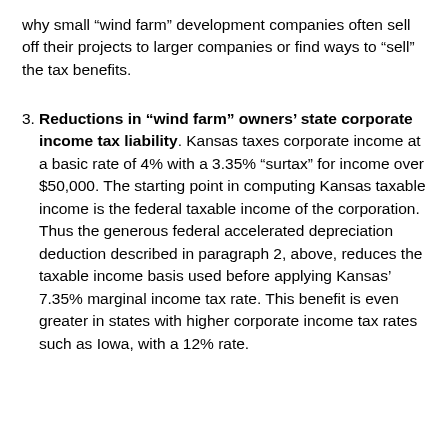why small “wind farm” development companies often sell off their projects to larger companies or find ways to “sell” the tax benefits.
3. Reductions in “wind farm” owners’ state corporate income tax liability. Kansas taxes corporate income at a basic rate of 4% with a 3.35% “surtax” for income over $50,000. The starting point in computing Kansas taxable income is the federal taxable income of the corporation. Thus the generous federal accelerated depreciation deduction described in paragraph 2, above, reduces the taxable income basis used before applying Kansas’ 7.35% marginal income tax rate. This benefit is even greater in states with higher corporate income tax rates such as Iowa, with a 12% rate.